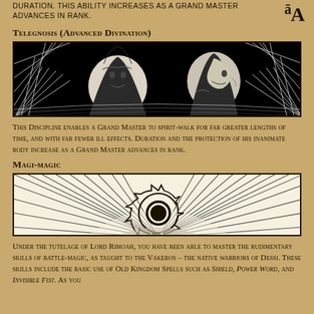Duration. This ability increases as a Grand Master advances in rank.
Telegnosis (Advanced Divination)
[Figure (illustration): Black and white illustration showing two figures in robes or cloaks, one facing forward and one in profile, in a dramatic graphic style with radiating lines in the background.]
This Discipline enables a Grand Master to spirit-walk for far greater lengths of time, and with far fewer ill effects. Duration and the protection of his inanimate body increase as a Grand Master advances in rank.
Magi-magic
[Figure (illustration): Black and white illustration showing a gear/cog wheel symbol centered in a banner with radiating lines fanning outward from a central arc shape on both sides.]
Under the tutelage of Lord Rimoah, you have been able to master the rudimentary skills of battle-magic, as taught to the Vakeros – the native warriors of Dessi. These skills include the basic use of Old Kingdom Spells such as Shield, Power Word, and Invisible Fist. As you